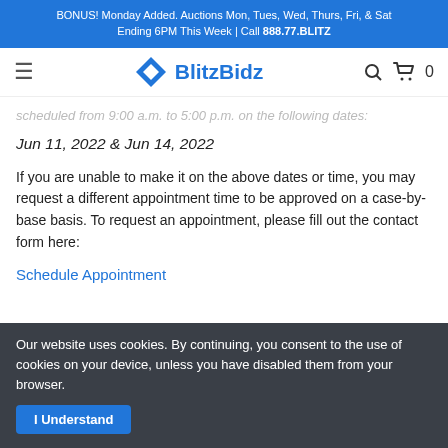BONUS! Monday Added. Auctions Mon, Tues, Wed, Thurs, Fri, & Sat Ending 6PM This Week | Call 888.77.BLITZ
[Figure (logo): BlitzBidz logo with blue diamond shape and text]
scheduled from 9:00 a.m. to 5:00 p.m. on the following dates:
Jun 11, 2022 & Jun 14, 2022
If you are unable to make it on the above dates or time, you may request a different appointment time to be approved on a case-by-base basis. To request an appointment, please fill out the contact form here:
Schedule Appointment
Our website uses cookies. By continuing, you consent to the use of cookies on your device, unless you have disabled them from your browser.